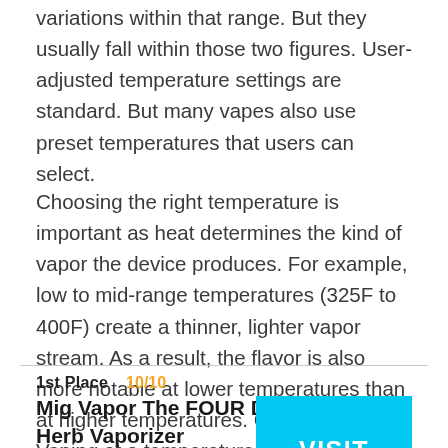variations within that range. But they usually fall within those two figures. User-adjusted temperature settings are standard. But many vapes also use preset temperatures that users can select.
Choosing the right temperature is important as heat determines the kind of vapor the device produces. For example, low to mid-range temperatures (325F to 400F) create a thinner, lighter vapor stream. As a result, the flavor is also more notable at lower temperatures than at higher temperatures. Conversely, Vaping at a temperature above 400F ensures bigger, hotter, more intense clouds.
1st Place   10/10
Mig Vapor The FOUR Dry Herb Vaporizer
VISIT